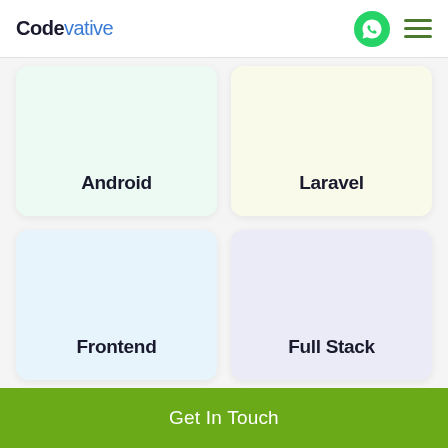Codevative
Android
Laravel
Frontend
Full Stack
Get In Touch